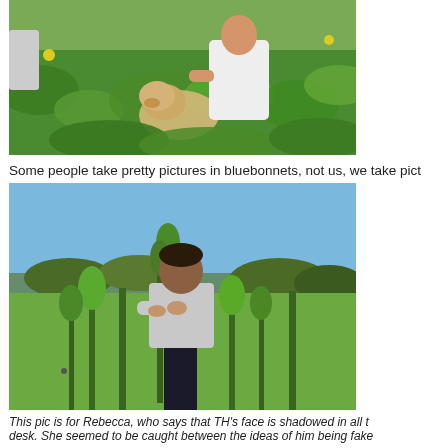[Figure (photo): Person crouching in green weeds/plants with a yellow Labrador dog, outdoors in bright sunlight]
Some people take pretty pictures in bluebonnets, not us, we take pict
[Figure (photo): Man standing in a field of tall green weeds with arms crossed, blue sky and trees in background]
This pic is for Rebecca, who says that TH's face is shadowed in all t desk. She seemed to be caught between the ideas of him being fake